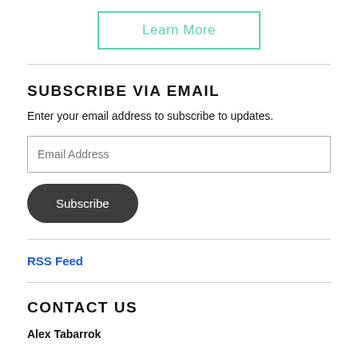[Figure (other): Learn More button with teal/mint colored border and text]
SUBSCRIBE VIA EMAIL
Enter your email address to subscribe to updates.
Email Address
Subscribe
RSS Feed
CONTACT US
Alex Tabarrok